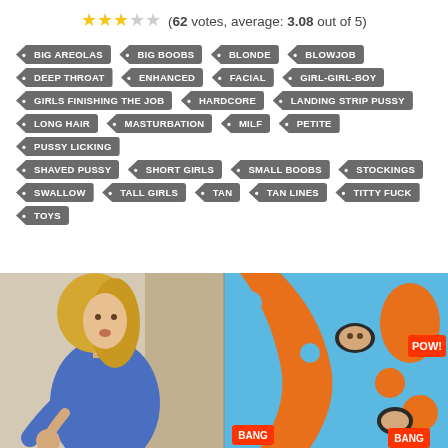(62 votes, average: 3.08 out of 5)
BIG AREOLAS
BIG BOOBS
BLONDE
BLOWJOB
DEEP THROAT
ENHANCED
FACIAL
GIRL-GIRL-BOY
GIRLS FINISHING THE JOB
HARDCORE
LANDING STRIP PUSSY
LONG HAIR
MASTURBATION
MILF
PETITE
PUSSY LICKING
SHAVED PUSSY
SHORT GIRLS
SMALL BOOBS
STOCKINGS
SWALLOW
TALL GIRLS
TAN
TAN LINES
TITTY FUCK
TOYS
[Figure (photo): Woman with blonde hair wearing a blue long-sleeve top, standing next to a blue and orange arcade-style box with comic book style BANG and POW labels. The right side shows another panel of the same blue/orange arcade box with holes and a face visible.]